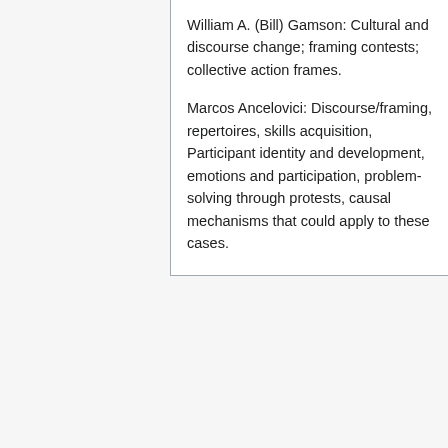William A. (Bill) Gamson: Cultural and discourse change; framing contests; collective action frames.
Marcos Ancelovici: Discourse/framing, repertoires, skills acquisition, Participant identity and development, emotions and participation, problem-solving through protests, causal mechanisms that could apply to these cases.
This page was last edited on 20 March 2012, at 19:28.
Privacy policy
About 21M: Understanding the new wave of social cooperation.
Disclaimers